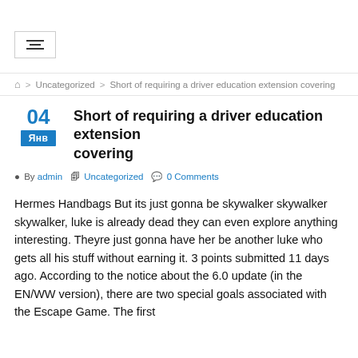[Figure (other): Filter/settings icon in a bordered box]
⌂ > Uncategorized > Short of requiring a driver education extension covering
04
Янв
Short of requiring a driver education extension covering
By admin  Uncategorized  0 Comments
Hermes Handbags But its just gonna be skywalker skywalker skywalker, luke is already dead they can even explore anything interesting. Theyre just gonna have her be another luke who gets all his stuff without earning it. 3 points submitted 11 days ago. According to the notice about the 6.0 update (in the EN/WW version), there are two special goals associated with the Escape Game. The first